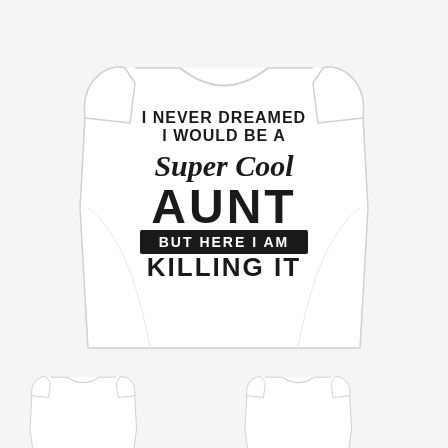[Figure (photo): Product photo showing a white women's scoop-neck t-shirt with black text reading: I NEVER DREAMED I WOULD BE A Super Cool AUNT BUT HERE I AM KILLING IT. Below the main shirt are two smaller views of the same shirt (front and back).]